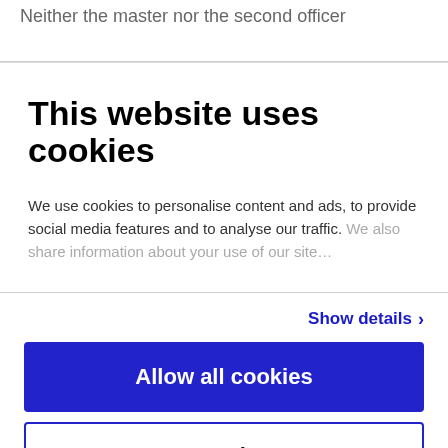Neither the master nor the second officer
This website uses cookies
We use cookies to personalise content and ads, to provide social media features and to analyse our traffic. We also share information about your use of our site
Show details ›
Allow all cookies
Customize ›
Powered by Cookiebot by Usercentrics